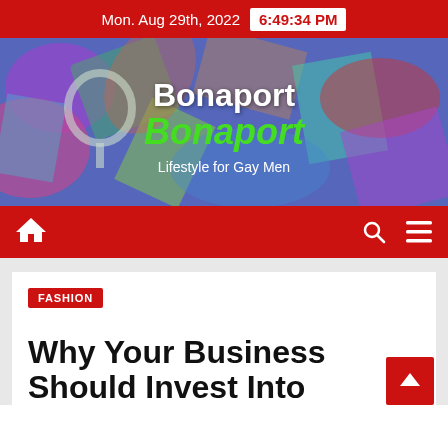Mon. Aug 29th, 2022  6:49:34 PM
[Figure (illustration): Bonaport website banner with colorful abstract background. Shows 'Bonaport' in white bold text, 'Bonaport' in green italic bold text, and 'Lifestyle for Gay Men' in white below.]
Navigation bar with home icon, search icon, and menu icon
FASHION
Why Your Business Should Invest Into